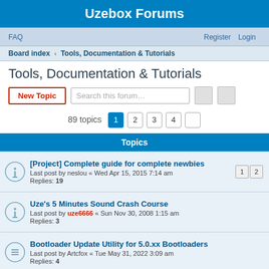Uzebox Forums
FAQ   Register   Login
Board index › Tools, Documentation & Tutorials
Tools, Documentation & Tutorials
New Topic   Search this forum…   89 topics  1  2  3  4
Topics
[Project] Complete guide for complete newbies
Last post by neslou « Wed Apr 15, 2015 7:14 am
Replies: 19  [1][2]
Uze's 5 Minutes Sound Crash Course
Last post by uze6666 « Sun Nov 30, 2008 1:15 am
Replies: 3
Bootloader Update Utility for 5.0.xx Bootloaders
Last post by Artcfox « Tue May 31, 2022 3:09 am
Replies: 4
Colour / hex equivalent chart
Last post by danboid « Tue Apr 20, 2021 10:16 pm
Replies: 4
Uzebox repository compiled with gcc 10.2.0 and avr-gcc